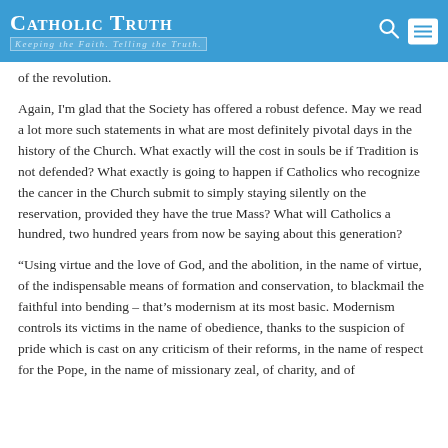Catholic Truth — Keeping the Faith. Telling the Truth.
of the revolution.
Again, I'm glad that the Society has offered a robust defence. May we read a lot more such statements in what are most definitely pivotal days in the history of the Church. What exactly will the cost in souls be if Tradition is not defended? What exactly is going to happen if Catholics who recognize the cancer in the Church submit to simply staying silently on the reservation, provided they have the true Mass? What will Catholics a hundred, two hundred years from now be saying about this generation?
“Using virtue and the love of God, and the abolition, in the name of virtue, of the indispensable means of formation and conservation, to blackmail the faithful into bending – that’s modernism at its most basic. Modernism controls its victims in the name of obedience, thanks to the suspicion of pride which is cast on any criticism of their reforms, in the name of respect for the Pope, in the name of missionary zeal, of charity, and of